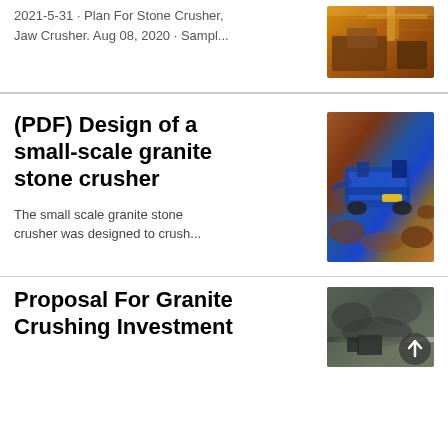2021-5-31 · Plan For Stone Crusher, Jaw Crusher. Aug 08, 2020 · Sampl...
[Figure (photo): Photo of industrial crusher machinery inside a factory/warehouse with warm orange lighting]
(PDF) Design of a small-scale granite stone crusher
[Figure (photo): Photo of a blue mobile stone crusher machine in an outdoor quarry setting with crushed rock around it]
The small scale granite stone crusher was designed to crush...
[Figure (photo): Small broken image icon]
Proposal For Granite Crushing Investment
[Figure (photo): Photo of granite quarry with rocky terrain and machinery; includes scroll-up button overlay]